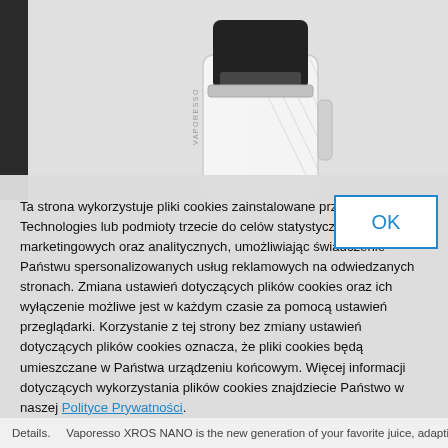[Figure (photo): Product photo of a white Vaporesso XROS NANO vape device against a light gray background, with a dark left sidebar/bar. The device shows a black pod on top of a white rectangular body with diagonal texture lines.]
Ta strona wykorzystuje pliki cookies zainstalowane przez Cloud Technologies lub podmioty trzecie do celów statystycznych, marketingowych oraz analitycznych, umożliwiając świadczenie Państwu spersonalizowanych usług reklamowych na odwiedzanych stronach. Zmiana ustawień dotyczących plików cookies oraz ich wyłączenie możliwe jest w każdym czasie za pomocą ustawień przeglądarki. Korzystanie z tej strony bez zmiany ustawień dotyczących plików cookies oznacza, że pliki cookies będą umieszczane w Państwa urządzeniu końcowym. Więcej informacji dotyczących wykorzystania plików cookies znajdziecie Państwo w naszej Polityce Prywatności.
Vaporesso XROS NANO is the new generation of your favorite juice, adapting SSS lock system...